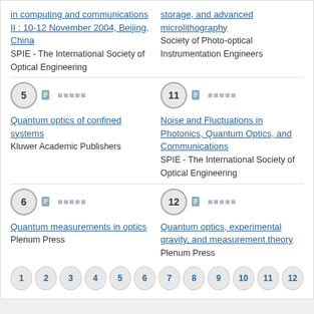in computing and communications II : 10-12 November 2004, Beijing, China
SPIE - The International Society of Optical Engineering
storage, and advanced microlithography
Society of Photo-optical Instrumentation Engineers
5 ☰ ☆☆☆☆☆
Quantum optics of confined systems
Kluwer Academic Publishers
11 ☰ ☆☆☆☆☆
Noise and Fluctuations in Photonics, Quantum Optics, and Communications
SPIE - The International Society of Optical Engineering
6 ☰ ☆☆☆☆☆
Quantum measurements in optics
Plenum Press
12 ☰ ☆☆☆☆☆
Quantum optics, experimental gravity, and measurement theory
Plenum Press
1 2 3 4 5 6 7 8 9 10 11 12